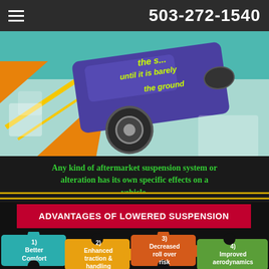503-272-1540
[Figure (photo): A lowered car viewed from the front-low angle showing the car barely above the ground, with puzzle piece decorative elements in teal, orange, and yellow on a colorful background. Yellow italic text overlay reads 'the s... until it is barely... the ground']
Any kind of aftermarket suspension system or alteration has its own specific effects on a vehicle.
ADVANTAGES OF LOWERED SUSPENSION
1) Better Comfort
2) Enhanced traction & handling
3) Decreased roll over risk
4) Improved aerodynamics